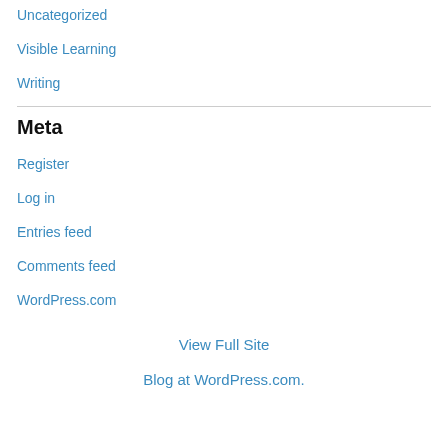Uncategorized
Visible Learning
Writing
Meta
Register
Log in
Entries feed
Comments feed
WordPress.com
View Full Site
Blog at WordPress.com.